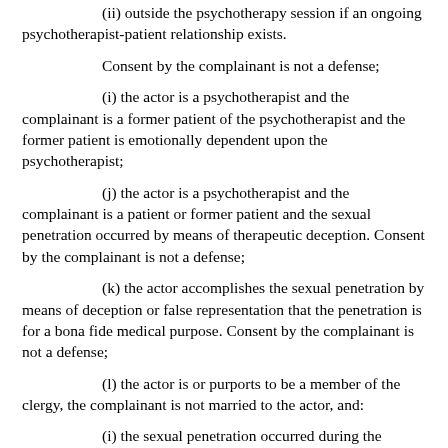(ii) outside the psychotherapy session if an ongoing psychotherapist-patient relationship exists.
Consent by the complainant is not a defense;
(i) the actor is a psychotherapist and the complainant is a former patient of the psychotherapist and the former patient is emotionally dependent upon the psychotherapist;
(j) the actor is a psychotherapist and the complainant is a patient or former patient and the sexual penetration occurred by means of therapeutic deception. Consent by the complainant is not a defense;
(k) the actor accomplishes the sexual penetration by means of deception or false representation that the penetration is for a bona fide medical purpose. Consent by the complainant is not a defense;
(l) the actor is or purports to be a member of the clergy, the complainant is not married to the actor, and:
(i) the sexual penetration occurred during the course of a meeting in which the complainant sought or received religious or spiritual advice, aid, or comfort from the